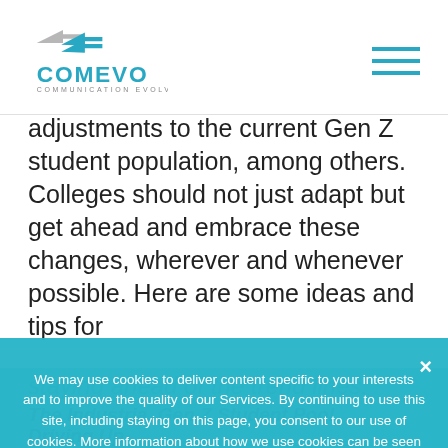COMEVO - COMMUNICATION EVOLVED
adjustments to the current Gen Z student population, among others. Colleges should not just adapt but get ahead and embrace these changes, wherever and whenever possible. Here are some ideas and tips for staying ahead of the trend lines.
We may use cookies to deliver content specific to your interests and to improve the quality of our Services. By continuing to use this site, including staying on this page, you consent to our use of cookies. More information about how we use cookies can be seen on our Privacy Policy. If you choose to disable cookies, portions of this site may not function correctly.
Accept
The Industria, Gen Z Student Pool Driving Up
The primary student prospect pool that U.S. colleges have targeted over the years is